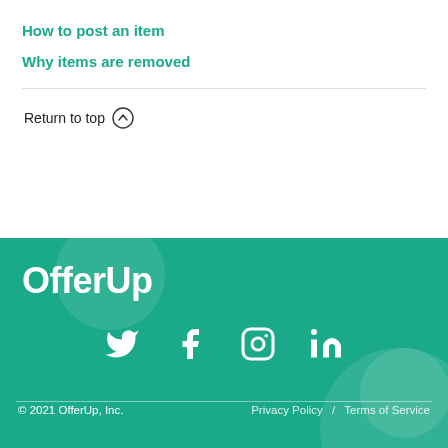How to post an item
Why items are removed
Return to top ↑
[Figure (logo): OfferUp logo in white text on teal background]
[Figure (illustration): Social media icons: Twitter, Facebook, Instagram, LinkedIn in white on teal]
© 2021 OfferUp, Inc.   Privacy Policy / Terms of Service